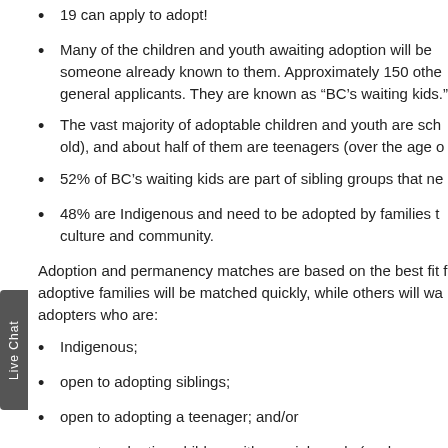19 can apply to adopt!
Many of the children and youth awaiting adoption will be someone already known to them. Approximately 150 othe general applicants. They are known as “BC’s waiting kids.”
The vast majority of adoptable children and youth are sch old), and about half of them are teenagers (over the age o
52% of BC’s waiting kids are part of sibling groups that ne
48% are Indigenous and need to be adopted by families t culture and community.
Adoption and permanency matches are based on the best fit f adoptive families will be matched quickly, while others will wa adopters who are:
Indigenous;
open to adopting siblings;
open to adopting a teenager; and/or
open to adopting children with special needs (such as ear